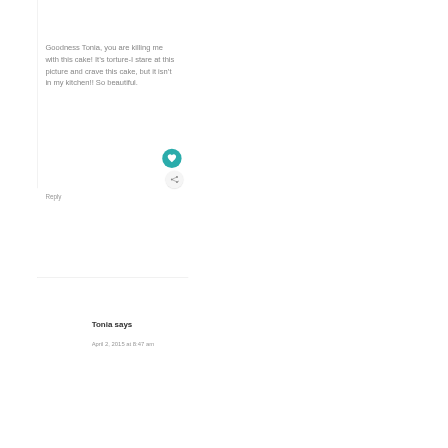Goodness Tonia, you are killing me with this cake! It’s torture-I stare at this picture and crave this cake, but it isn’t in my kitchen!! So beautiful.
Reply
Tonia says
April 2, 2015 at 8:47 am